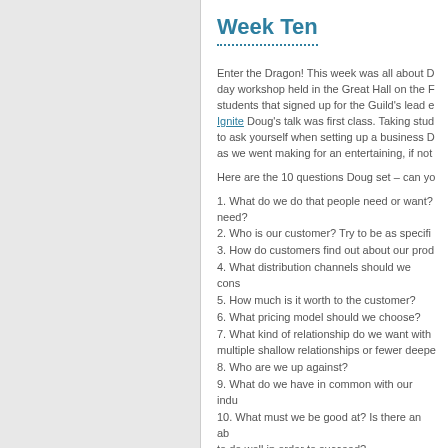Week Ten
Enter the Dragon! This week was all about D day workshop held in the Great Hall on the F students that signed up for the Guild's lead e Ignite Doug's talk was first class. Taking stud to ask yourself when setting up a business D as we went making for an entertaining, if not
Here are the 10 questions Doug set – can yo
1. What do we do that people need or want? need?
2. Who is our customer? Try to be as specifi
3. How do customers find out about our prod
4. What distribution channels should we cons
5. How much is it worth to the customer?
6. What pricing model should we choose?
7. What kind of relationship do we want with multiple shallow relationships or fewer deepe
8. Who are we up against?
9. What do we have in common with our indu
10. What must we be good at? Is there an ab to do well in order to succeed?